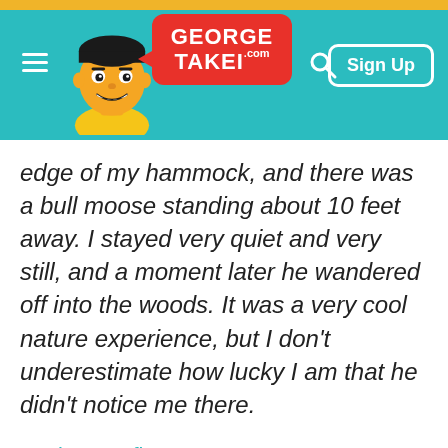[Figure (screenshot): George Takei website header with teal background, gold top stripe, hamburger menu, cartoon avatar of George Takei, red speech bubble logo reading 'GEORGE TAKEI .com', search icon, and Sign Up button]
edge of my hammock, and there was a bull moose standing about 10 feet away. I stayed very quiet and very still, and a moment later he wandered off into the woods. It was a very cool nature experience, but I don't underestimate how lucky I am that he didn't notice me there.
- unittwentyfive